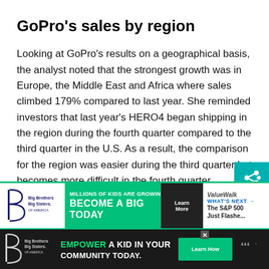GoPro's sales by region
Looking at GoPro's results on a geographical basis, the analyst noted that the strongest growth was in Europe, the Middle East and Africa where sales climbed 179% compared to last year. She reminded investors that last year's HERO4 began shipping in the region during the fourth quarter compared to the third quarter in the U.S. As a result, the comparison for the region was easier during the third quarter but becomes more difficult in the fourth quarter.
[Figure (other): Advertisement banner: Big Brothers Big Sisters - MILLIONS OF KIDS ARE GROWING UP WITHOUT - BECOME A BIG TODAY with Learn More button, and ValueWalk WHAT'S NEXT The S&P 500 Just Flashe...]
[Figure (other): Advertisement banner on dark background: Big Brothers Big Sisters - EMPOWER A KID IN YOUR COMMUNITY TODAY with Learn How button]